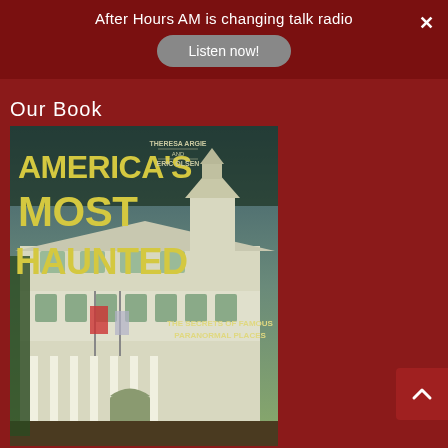After Hours AM is changing talk radio
Listen now!
Our Book
[Figure (photo): Book cover of 'America's Most Haunted: The Secrets of Famous Paranormal Places' by Theresa Argie and Eric Olsen. The cover shows a large white Victorian-style hotel building (the Stanley Hotel) with a dramatic sky. The title text is in yellow stylized font against a dark green/teal background.]